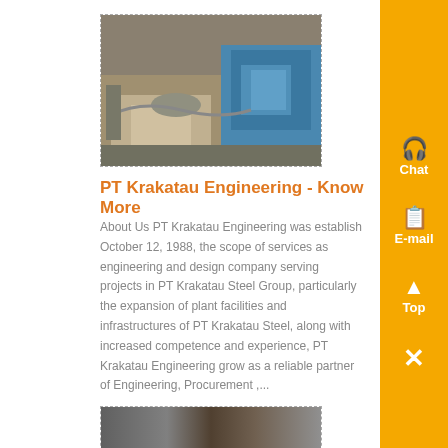[Figure (photo): Industrial machinery/equipment photo showing mechanical components with blue motor, mounted on concrete surface]
PT Krakatau Engineering - Know More
About Us PT Krakatau Engineering was establish October 12, 1988, the scope of services as engineering and design company serving projects in PT Krakatau Steel Group, particularly the expansion of plant facilities and infrastructures of PT Krakatau Steel, along with increased competence and experience, PT Krakatau Engineering grow as a reliable partner of Engineering, Procurement ,...
[Figure (photo): Second industrial machinery photo (partially visible at bottom)]